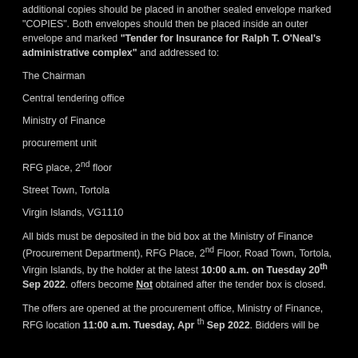additional copies should be placed in another sealed envelope marked "COPIES". Both envelopes should then be placed inside an outer envelope and marked "Tender for Insurance for Ralph T. O'Neal's administrative complex" and addressed to:
The Chairman
Central tendering office
Ministry of Finance
procurement unit
RFG place, 2nd floor
Street Town, Tortola
Virgin Islands, VG1110
All bids must be deposited in the bid box at the Ministry of Finance (Procurement Department), RFG Place, 2nd Floor, Road Town, Tortola, Virgin Islands, by the holder at the latest 10:00 a.m. on Tuesday 20th Sep 2022. offers become Not obtained after the tender box is closed.
The offers are opened at the procurement office, Ministry of Finance, RFG location 11:00 a.m. Tuesday, Apr [date]th Sep 2022. Bidders will be